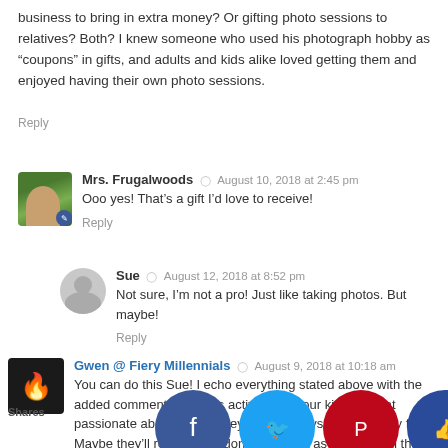business to bring in extra money? Or gifting photo sessions to relatives? Both? I knew someone who used his photograph hobby as “coupons” in gifts, and adults and kids alike loved getting them and enjoyed having their own photo sessions.
Reply
Mrs. Frugalwoods ● August 10, 2018 at 2:45 pm
Ooo yes! That’s a gift I’d love to receive!
Reply
Sue ● August 12, 2018 at 8:52 pm
Not sure, I’m not a pro! Just like taking photos. But maybe!
Reply
Gwen @ Fiery Millennials ● August 9, 2018 at 10:18 am
You can do this Sue! I echo everything stated above with the added comment on sports activities. If your kids are that passionate about sports, they will find ways to get money for it. Maybe they’ll realize they don’t care for it as much when they h... ay the... ees. I p... he vas... ity of m... u... and sp... es once... gh scho... ould s...